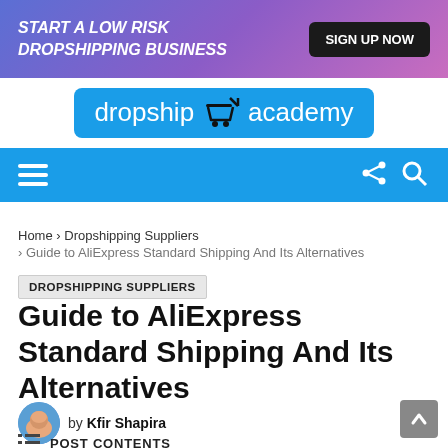[Figure (infographic): Advertisement banner: START A LOW RISK DROPSHIPPING BUSINESS with SIGN UP NOW button on gradient purple background]
[Figure (logo): Dropship Academy logo on blue background with shopping cart icon]
[Figure (screenshot): Blue navigation bar with hamburger menu, share icon, and search icon]
Home › Dropshipping Suppliers
› Guide to AliExpress Standard Shipping And Its Alternatives
DROPSHIPPING SUPPLIERS
Guide to AliExpress Standard Shipping And Its Alternatives
by Kfir Shapira
POST CONTENTS